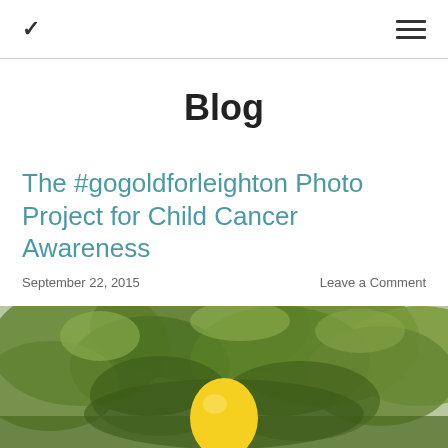Blog
The #gogoldforleighton Photo Project for Child Cancer Awareness
September 22, 2015    Leave a Comment
[Figure (photo): Outdoor photo showing green tree foliage with a yellow balloon in the foreground, bottom portion of image visible]